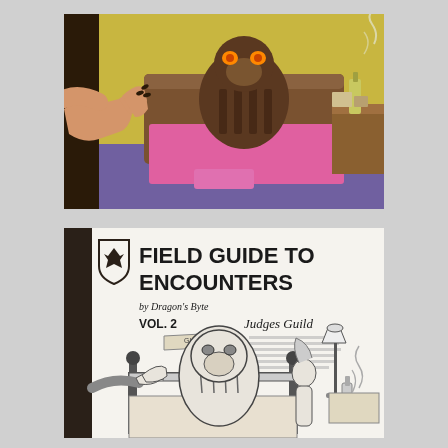[Figure (illustration): Colored comic-style illustration showing a gorilla-like creature sitting in a bed with pink sheets, a bedside table with a bottle and glass behind it, against a yellow wall with purple floor. A large hand with long nails reaches in from the left side.]
[Figure (illustration): Black and white cover of 'Field Guide to Encounters Vol. 2' by Dragon's Byte, published by Judges Guild. Features a shield logo with a bird, large bold title text, and a line-art illustration of a gorilla creature in a bed scene with a lamp and bottle on a nightstand, and a female figure, mirroring the colored illustration above.]